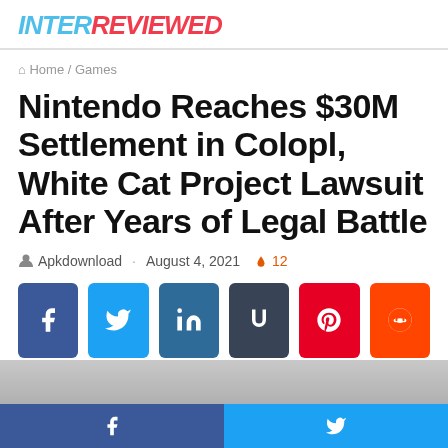INTERREVIEWED
Home / Games
Nintendo Reaches $30M Settlement in Colopl, White Cat Project Lawsuit After Years of Legal Battle
Apkdownload · August 4, 2021 🔥 12
[Figure (other): Social share buttons: Facebook, Twitter, LinkedIn, Tumblr, Pinterest, Reddit]
[Figure (photo): Partial image strip at bottom of page]
Facebook and Twitter share buttons